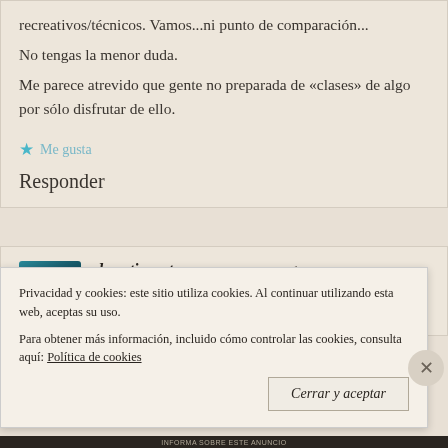recreativos/técnicos. Vamos...ni punto de comparación...
No tengas la menor duda.
Me parece atrevido que gente no preparada de «clases» de algo por sólo disfrutar de ello.
★ Me gusta
Responder
dmartincastro   12 agosto, 2016 a las 6:46 am
Privacidad y cookies: este sitio utiliza cookies. Al continuar utilizando esta web, aceptas su uso. Para obtener más información, incluido cómo controlar las cookies, consulta aquí: Política de cookies
Cerrar y aceptar
INFORMA SOBRE ESTA ANUNCIO